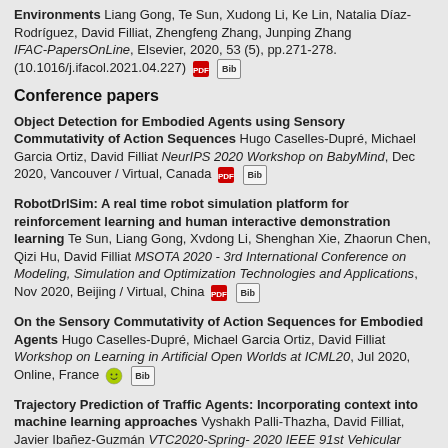Environments Liang Gong, Te Sun, Xudong Li, Ke Lin, Natalia Díaz-Rodríguez, David Filliat, Zhengfeng Zhang, Junping Zhang IFAC-PapersOnLine, Elsevier, 2020, 53 (5), pp.271-278. (10.1016/j.ifacol.2021.04.227)
Conference papers
Object Detection for Embodied Agents using Sensory Commutativity of Action Sequences Hugo Caselles-Dupré, Michael Garcia Ortiz, David Filliat NeurIPS 2020 Workshop on BabyMind, Dec 2020, Vancouver / Virtual, Canada
RobotDrISim: A real time robot simulation platform for reinforcement learning and human interactive demonstration learning Te Sun, Liang Gong, Xvdong Li, Shenghan Xie, Zhaorun Chen, Qizi Hu, David Filliat MSOTA 2020 - 3rd International Conference on Modeling, Simulation and Optimization Technologies and Applications, Nov 2020, Beijing / Virtual, China
On the Sensory Commutativity of Action Sequences for Embodied Agents Hugo Caselles-Dupré, Michael Garcia Ortiz, David Filliat Workshop on Learning in Artificial Open Worlds at ICML20, Jul 2020, Online, France
Trajectory Prediction of Traffic Agents: Incorporating context into machine learning approaches Vyshakh Palli-Thazha, David Filliat, Javier Ibañez-Guzmán VTC2020-Spring- 2020 IEEE 91st Vehicular Technology Conference, May 2020, Antwerp / Virtual,